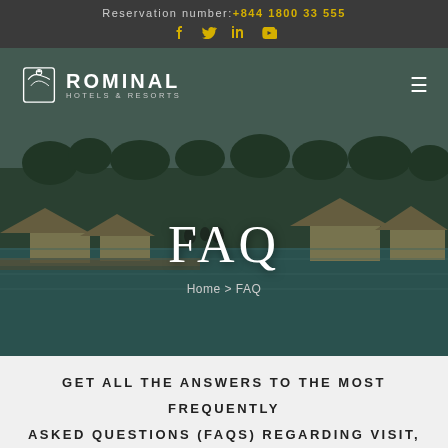Reservation number: +844 1800 33 555
[Figure (screenshot): Tropical resort hero image showing overwater bungalows, thatched huts, palm trees, and turquoise water with a dark overlay]
FAQ
Home > FAQ
GET ALL THE ANSWERS TO THE MOST FREQUENTLY ASKED QUESTIONS (FAQS) REGARDING VISIT, SERVICES, INTELLIGENTHOME, AND MUCH, MUCH MORE.